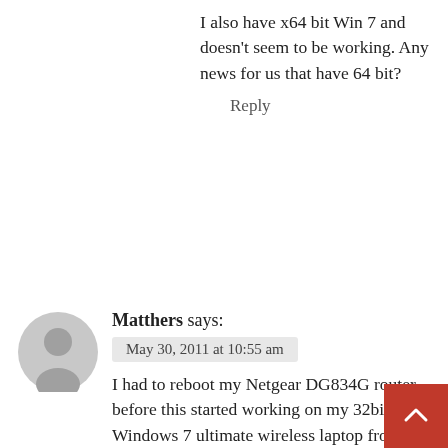I also have x64 bit Win 7 and doesn't seem to be working. Any news for us that have 64 bit?
Reply
Matthers says:
May 30, 2011 at 10:55 am
I had to reboot my Netgear DG834G router before this started working on my 32bit Windows 7 ultimate wireless laptop from my iPhone 3GS jailbroken phone running ios 4.3.2, but have had no luck getting this to work on my 64bit wired HTPC. Am inclined to think it 64bit getting in the way and not the wireless part.